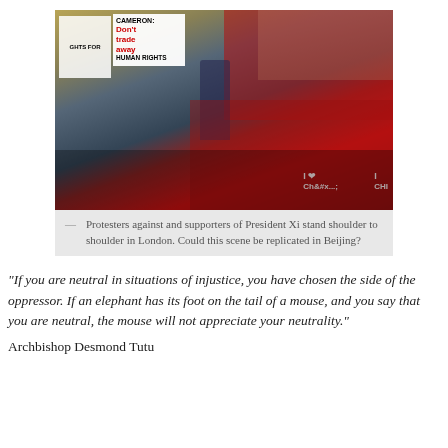[Figure (photo): Protesters against and supporters of President Xi standing shoulder to shoulder in London. On the left side, people hold signs including one reading 'CAMERON: Don't trade away HUMAN RIGHTS' and Tibetan flags. On the right side, people in red 'I Love China' shirts wave Chinese flags.]
— Protesters against and supporters of President Xi stand shoulder to shoulder in London. Could this scene be replicated in Beijing?
“If you are neutral in situations of injustice, you have chosen the side of the oppressor. If an elephant has its foot on the tail of a mouse, and you say that you are neutral, the mouse will not appreciate your neutrality.” Archbishop Desmond Tutu